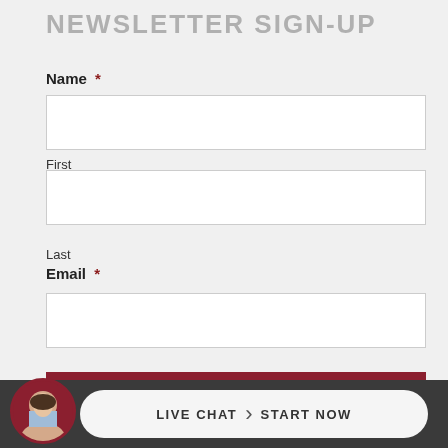NEWSLETTER SIGN-UP
Name *
First
Last
Email *
Sign Me Up
LIVE CHAT  START NOW